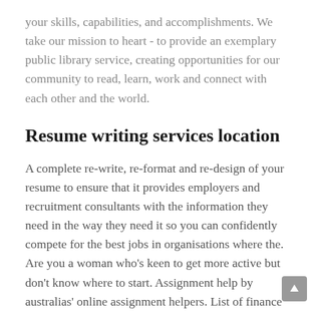your skills, capabilities, and accomplishments. We take our mission to heart - to provide an exemplary public library service, creating opportunities for our community to read, learn, work and connect with each other and the world.
Resume writing services location
A complete re-write, re-format and re-design of your resume to ensure that it provides employers and recruitment consultants with the information they need in the way they need it so you can confidently compete for the best jobs in organisations where the. Are you a woman who's keen to get more active but don't know where to start. Assignment help by australias' online assignment helpers. List of finance officer - great sample resume. They are the organisations professional resume